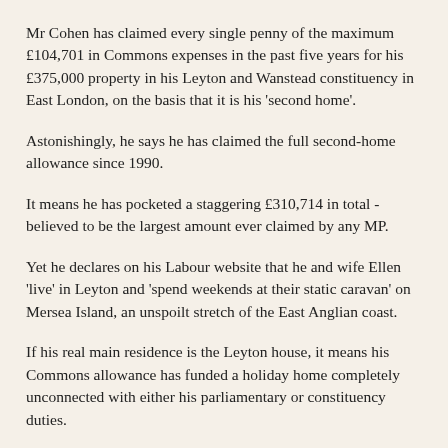Mr Cohen has claimed every single penny of the maximum £104,701 in Commons expenses in the past five years for his £375,000 property in his Leyton and Wanstead constituency in East London, on the basis that it is his 'second home'.
Astonishingly, he says he has claimed the full second-home allowance since 1990.
It means he has pocketed a staggering £310,714 in total - believed to be the largest amount ever claimed by any MP.
Yet he declares on his Labour website that he and wife Ellen 'live' in Leyton and 'spend weekends at their static caravan' on Mersea Island, an unspoilt stretch of the East Anglian coast.
If his real main residence is the Leyton house, it means his Commons allowance has funded a holiday home completely unconnected with either his parliamentary or constituency duties.
Source and Full Story(Must read)